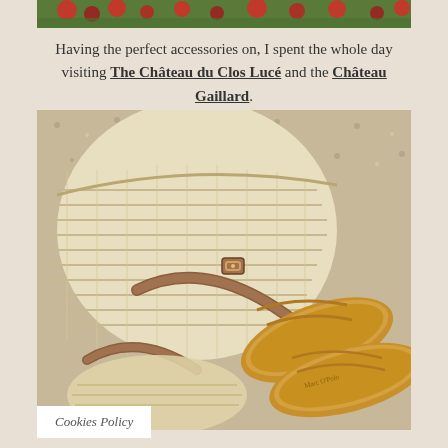[Figure (photo): Top portion of a photo showing red roses and green foliage, cropped at the top of the page.]
Having the perfect accessories on, I spent the whole day visiting The Château du Clos Lucé and the Château Gaillard.
[Figure (photo): A woven straw basket/hat and tan leather sandals (Marc O'Polo brand) laid on a gravel surface.]
Cookies Policy